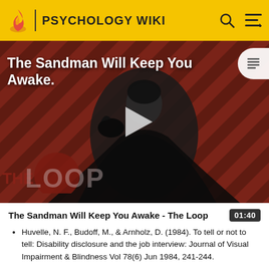PSYCHOLOGY WIKI
[Figure (screenshot): Video thumbnail for 'The Sandman Will Keep You Awake - The Loop' showing a dark figure in a black cape against a striped red-brown background with 'THE LOOP' text overlay and a play button in the center.]
The Sandman Will Keep You Awake - The Loop
Huvelle, N. F., Budoff, M., & Arnholz, D. (1984). To tell or not to tell: Disability disclosure and the job interview: Journal of Visual Impairment & Blindness Vol 78(6) Jun 1984, 241-244.